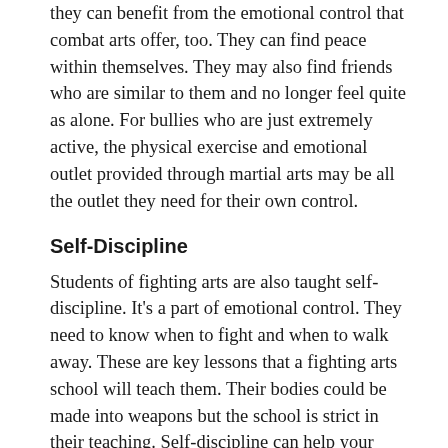they can benefit from the emotional control that combat arts offer, too. They can find peace within themselves. They may also find friends who are similar to them and no longer feel quite as alone. For bullies who are just extremely active, the physical exercise and emotional outlet provided through martial arts may be all the outlet they need for their own control.
Self-Discipline
Students of fighting arts are also taught self-discipline. It's a part of emotional control. They need to know when to fight and when to walk away. These are key lessons that a fighting arts school will teach them. Their bodies could be made into weapons but the school is strict in their teaching. Self-discipline can help your child stay focused in school as well. They'll understand their priorities in life easier. You may even find that they're performing better in school.
Respect